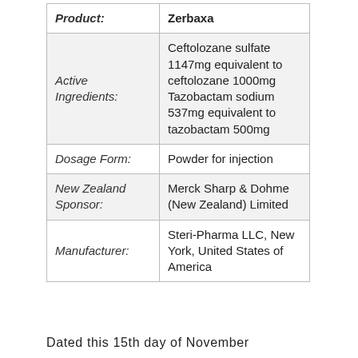|  |  |
| --- | --- |
| Product: | Zerbaxa |
| Active Ingredients: | Ceftolozane sulfate 1147mg equivalent to ceftolozane 1000mg
Tazobactam sodium 537mg equivalent to tazobactam 500mg |
| Dosage Form: | Powder for injection |
| New Zealand Sponsor: | Merck Sharp & Dohme (New Zealand) Limited |
| Manufacturer: | Steri-Pharma LLC, New York, United States of America |
Dated this 15th day of November